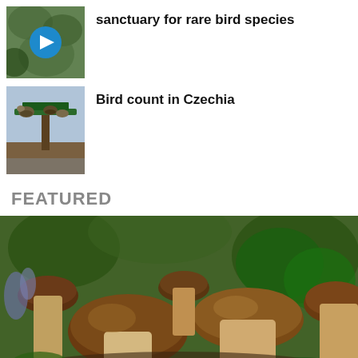[Figure (photo): Thumbnail of green foliage with a blue play button overlay, representing a video about a sanctuary for rare bird species]
sanctuary for rare bird species
[Figure (photo): Thumbnail of birds at a green feeder/bird table]
Bird count in Czechia
FEATURED
[Figure (photo): Close-up photo of multiple wild mushrooms (porcini/boletus type) among pine needles and green foliage]